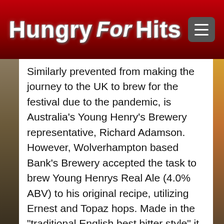Hungry For Hits
Similarly prevented from making the journey to the UK to brew for the festival due to the pandemic, is Australia's Young Henry's Brewery representative, Richard Adamson. However, Wolverhampton based Bank's Brewery accepted the task to brew Young Henrys Real Ale (4.0% ABV) to his original recipe, utilizing Ernest and Topaz hops. Made in the "traditional English best bitter style" it has a "solid malt backing of caramel and toffee, blanced by hints of spice and a mellow, deep citrus flavour, leading to a long bitter finish".